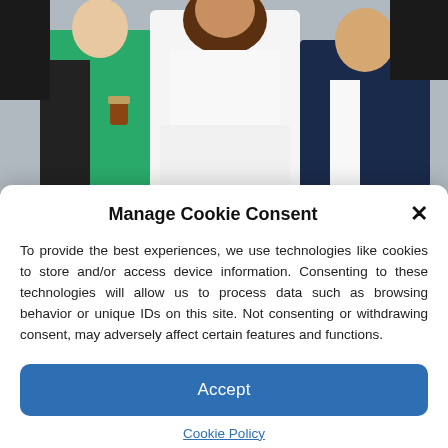[Figure (photo): Outdoor photo showing three people: a woman in a green outfit on the left, a woman in a white dress in the center, and a man in a dark suit on the right.]
Manage Cookie Consent
To provide the best experiences, we use technologies like cookies to store and/or access device information. Consenting to these technologies will allow us to process data such as browsing behavior or unique IDs on this site. Not consenting or withdrawing consent, may adversely affect certain features and functions.
Accept
Cookie Policy